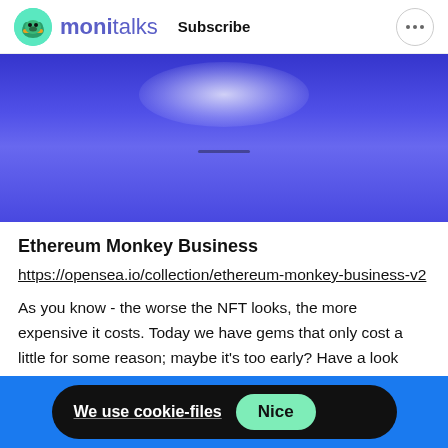moni talks  Subscribe
[Figure (illustration): Purple/blue gradient hero banner with white glow at top center and a dark horizontal line element in the middle]
Ethereum Monkey Business
https://opensea.io/collection/ethereum-monkey-business-v2
As you know - the worse the NFT looks, the more expensive it costs. Today we have gems that only cost a little for some reason; maybe it's too early? Have a look suddenly at the new monkey gem.
We use cookie-files  Nice